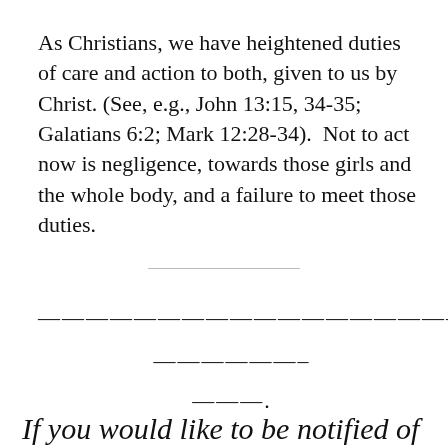As Christians, we have heightened duties of care and action to both, given to us by Christ. (See, e.g., John 13:15, 34-35; Galatians 6:2; Mark 12:28-34).  Not to act now is negligence, towards those girls and the whole body, and a failure to meet those duties.
———————————————————————–
——————–
———.
If you would like to be notified of other articles on the Churches of